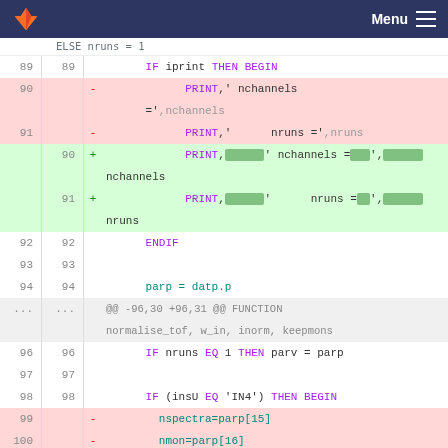GitLab — Menu
[Figure (screenshot): Code diff view showing Fortran source changes, lines 89-101, with removed lines (pink) and added lines (green). Removed lines show PRINT statements without char() wrappers; added lines show PRINT statements with highlighted char() calls. Context lines show ENDIF, parp=datp.p, IF nruns EQ 1 THEN parv=parp, IF (insU EQ 'IN4') THEN BEGIN, nspectra=parp[15], nmon=parp[16], and mon=w_in[*,nspectra:nspectra+nmon-.]